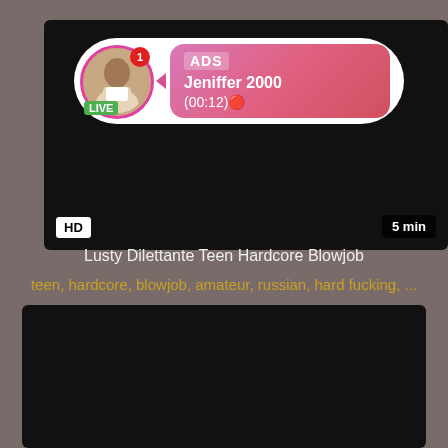[Figure (screenshot): Video player with ad overlay showing user 'Jeniffer 2000' live stream ad with avatar, LIVE badge, HD label, and 5 min duration badge on black background]
Lusty Dilettante Teen Hardcore Blowjob
teen, hardcore, blowjob, amateur, russian, hard fucking, ...
[Figure (screenshot): Second black video player thumbnail]